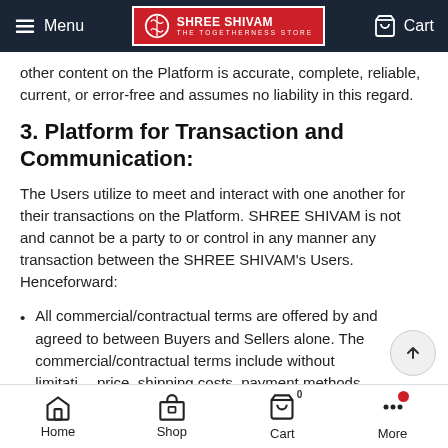Menu | SHREE SHIVAM THE TOGETHERNESS STORE | Cart
other content on the Platform is accurate, complete, reliable, current, or error-free and assumes no liability in this regard.
3. Platform for Transaction and Communication:
The Users utilize to meet and interact with one another for their transactions on the Platform. SHREE SHIVAM is not and cannot be a party to or control in any manner any transaction between the SHREE SHIVAM's Users. Henceforward:
All commercial/contractual terms are offered by and agreed to between Buyers and Sellers alone. The commercial/contractual terms include without limitation price, shipping costs, payment methods, payment ter…
Home | Shop | Cart | More